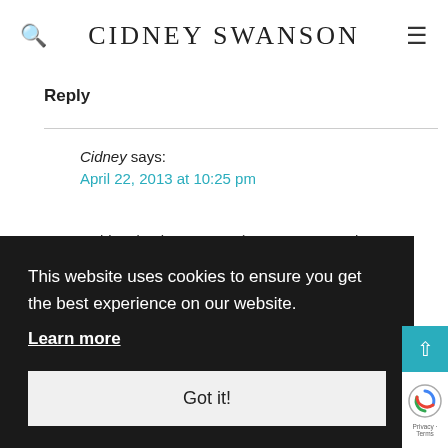CIDNEY SWANSON
Reply
Cidney says:
April 22, 2013 at 10:25 pm
Gabi S. (and everyone!!!). I am so sorry about
This website uses cookies to ensure you get the best experience on our website.
Learn more
Got it!